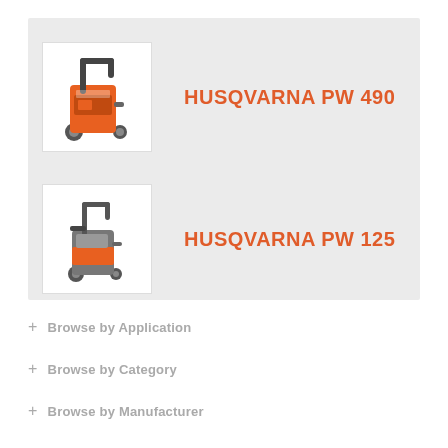[Figure (illustration): Husqvarna PW 490 pressure washer product image - orange and black wheeled pressure washer]
HUSQVARNA PW 490
[Figure (illustration): Husqvarna PW 125 pressure washer product image - orange and grey wheeled pressure washer]
HUSQVARNA PW 125
+ Browse by Application
+ Browse by Category
+ Browse by Manufacturer